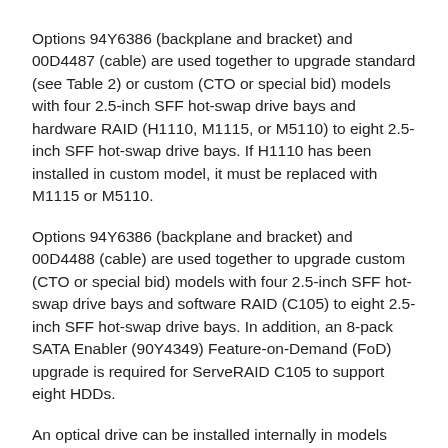Options 94Y6386 (backplane and bracket) and 00D4487 (cable) are used together to upgrade standard (see Table 2) or custom (CTO or special bid) models with four 2.5-inch SFF hot-swap drive bays and hardware RAID (H1110, M1115, or M5110) to eight 2.5-inch SFF hot-swap drive bays. If H1110 has been installed in custom model, it must be replaced with M1115 or M5110.
Options 94Y6386 (backplane and bracket) and 00D4488 (cable) are used together to upgrade custom (CTO or special bid) models with four 2.5-inch SFF hot-swap drive bays and software RAID (C105) to eight 2.5-inch SFF hot-swap drive bays. In addition, an 8-pack SATA Enabler (90Y4349) Feature-on-Demand (FoD) upgrade is required for ServeRAID C105 to support eight HDDs.
An optical drive can be installed internally in models with 2.5-inch hot-swap or simple-swap drive bays (no optical drive support in models with 3.5-inch drive bays).